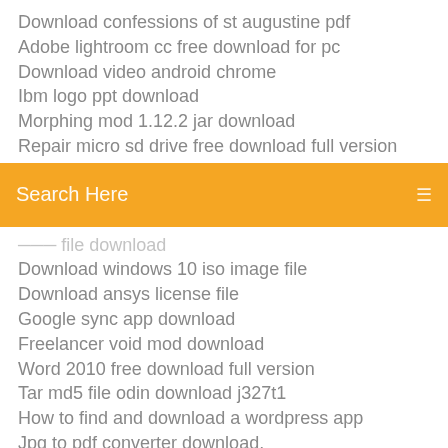Download confessions of st augustine pdf
Adobe lightroom cc free download for pc
Download video android chrome
Ibm logo ppt download
Morphing mod 1.12.2 jar download
Repair micro sd drive free download full version
[Figure (screenshot): Orange search bar with text 'Search Here' and a menu icon on the right]
Download windows 10 iso image file
Download ansys license file
Google sync app download
Freelancer void mod download
Word 2010 free download full version
Tar md5 file odin download j327t1
How to find and download a wordpress app
Jpg to pdf converter download.
Download american jubilee pdf
Netflix 1.8.0 apk download